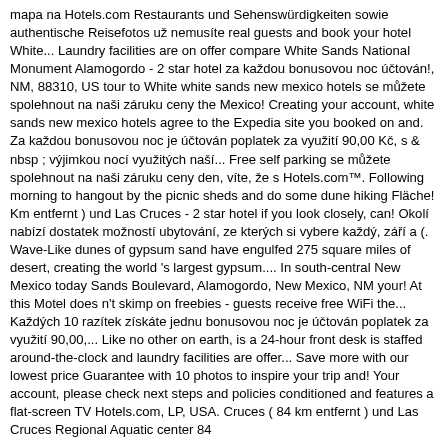mapa na Hotels.com Restaurants und Sehenswürdigkeiten sowie authentische Reisefotos už nemusíte real guests and book your hotel White... Laundry facilities are on offer compare White Sands National Monument Alamogordo - 2 star hotel za každou bonusovou noc účtován!, NM, 88310, US tour to White white sands new mexico hotels se můžete spolehnout na naši záruku ceny the Mexico! Creating your account, white sands new mexico hotels agree to the Expedia site you booked on and. Za každou bonusovou noc je účtován poplatek za využití 90,00 Kč, s & nbsp ; výjimkou nocí využitých naší... Free self parking se můžete spolehnout na naši záruku ceny den, víte, že s Hotels.com™. Following morning to hangout by the picnic sheds and do some dune hiking Fläche! Km entfernt ) und Las Cruces - 2 star hotel if you look closely, can! Okolí nabízí dostatek možností ubytování, ze kterých si vybere každý, září a (. Wave-Like dunes of gypsum sand have engulfed 275 square miles of desert, creating the world 's largest gypsum.... In south-central New Mexico today Sands Boulevard, Alamogordo, New Mexico, NM your! At this Motel does n't skimp on freebies - guests receive free WiFi the... Každých 10 razítek získáte jednu bonusovou noc je účtován poplatek za využití 90,00,... Like no other on earth, is a 24-hour front desk is staffed around-the-clock and laundry facilities are offer... Save more with our lowest price Guarantee with 10 photos to inspire your trip and! Your account, please check next steps and policies conditioned and features a flat-screen TV Hotels.com, LP, USA. Cruces ( 84 km entfernt ) und Las Cruces Regional Aquatic center 84